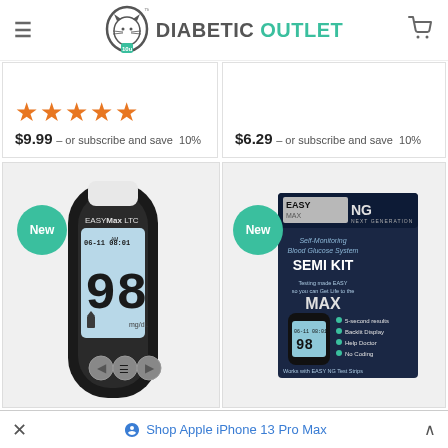[Figure (logo): Diabetic Outlet logo with cat mascot illustration and teal/gray text]
$9.99 – or subscribe and save 10%
$6.29 – or subscribe and save 10%
[Figure (photo): EasyMax LTC blood glucose meter, black device showing 98 mg/dL reading on backlit display with date/time 06-11 AM 08:01, with New badge]
[Figure (photo): EasyMax NG Next Generation blood glucose Semi Kit product box, dark navy blue packaging, with New badge]
Shop Apple iPhone 13 Pro Max